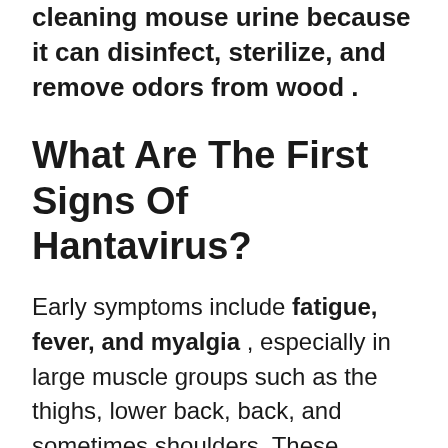cleaning mouse urine because it can disinfect, sterilize, and remove odors from wood .
What Are The First Signs Of Hantavirus?
Early symptoms include fatigue, fever, and myalgia , especially in large muscle groups such as the thighs, lower back, back, and sometimes shoulders. These symptoms are universal. There can also be headaches, dizziness, chills, and abdominal problems such as nausea, vomiting, diarrhea, and